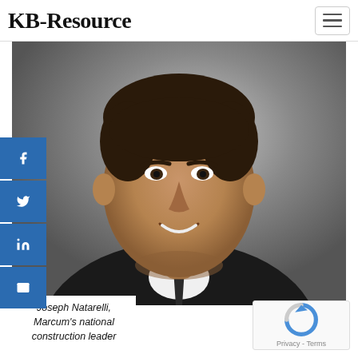KB-Resource
[Figure (photo): Professional headshot of Joseph Natarelli, a middle-aged man in a dark suit and dark tie, smiling, against a grey background]
Joseph Natarelli, Marcum's national construction leader